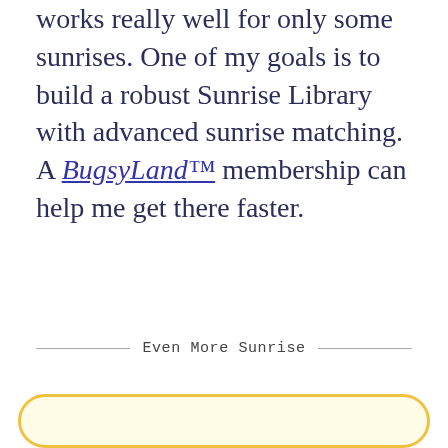works really well for only some sunrises. One of my goals is to build a robust Sunrise Library with advanced sunrise matching. A BugsyLand™ membership can help me get there faster.
Even More Sunrise
[Figure (other): Yellow rounded rectangle button/box at the bottom of the page]